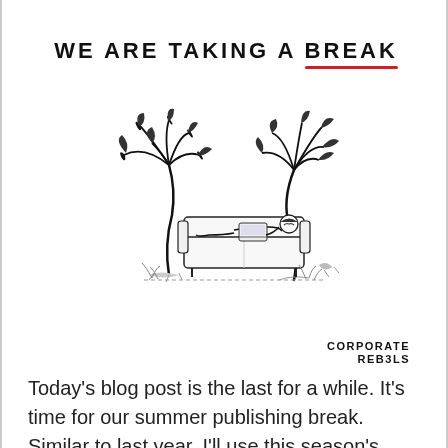WE ARE TAKING A BREAK
[Figure (illustration): Hand-drawn sketch of a person reclining on a sofa with a laptop, surrounded by two palm trees on either side, with small plants at the base]
[Figure (logo): Corporate Rebels logo in bold uppercase text]
Today's blog post is the last for a while. It's time for our summer publishing break. Similar to last year, I'll use this season's final post to share the cool